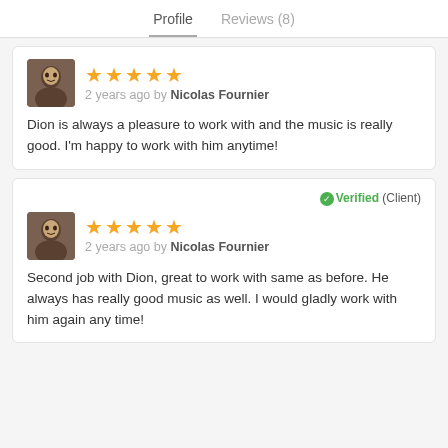Profile   Reviews (8)
2 years ago by Nicolas Fournier
Dion is always a pleasure to work with and the music is really good. I'm happy to work with him anytime!
Verified (Client)
2 years ago by Nicolas Fournier
Second job with Dion, great to work with same as before. He always has really good music as well. I would gladly work with him again any time!